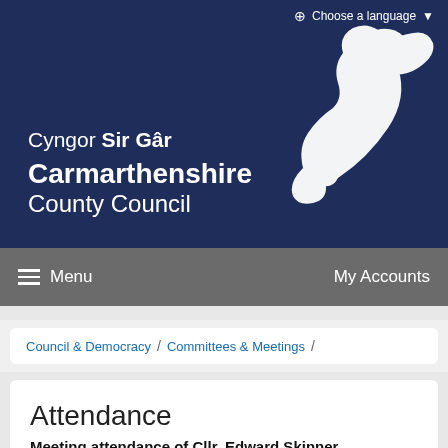[Figure (logo): Carmarthenshire County Council logo with Welsh dragon and bilingual text: Cyngor Sir Gâr / Carmarthenshire County Council on dark navy background]
Choose a language
≡ Menu   My Accounts
Council & Democracy / Committees & Meetings /
Attendance
Meeting attendance of Cllr. Edward Skinner